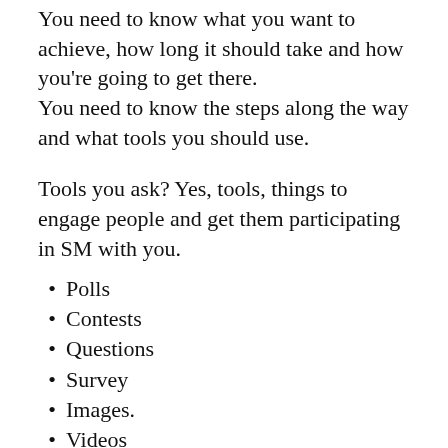You need to know what you want to achieve, how long it should take and how you're going to get there.
You need to know the steps along the way and what tools you should use.
Tools you ask? Yes, tools, things to engage people and get them participating in SM with you.
Polls
Contests
Questions
Survey
Images.
Videos
Podcasts